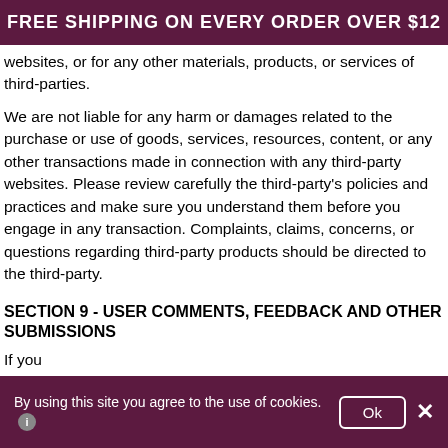FREE SHIPPING ON EVERY ORDER OVER $12
websites, or for any other materials, products, or services of third-parties.
We are not liable for any harm or damages related to the purchase or use of goods, services, resources, content, or any other transactions made in connection with any third-party websites. Please review carefully the third-party's policies and practices and make sure you understand them before you engage in any transaction. Complaints, claims, concerns, or questions regarding third-party products should be directed to the third-party.
SECTION 9 - USER COMMENTS, FEEDBACK AND OTHER SUBMISSIONS
If you...
By using this site you agree to the use of cookies. Ok ×